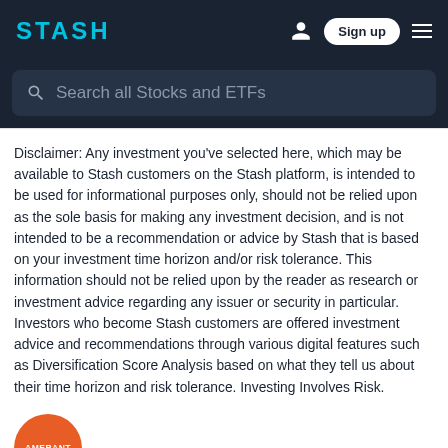STASH — Sign up
Search all Stocks and ETFs
Disclaimer: Any investment you've selected here, which may be available to Stash customers on the Stash platform, is intended to be used for informational purposes only, should not be relied upon as the sole basis for making any investment decision, and is not intended to be a recommendation or advice by Stash that is based on your investment time horizon and/or risk tolerance. This information should not be relied upon by the reader as research or investment advice regarding any issuer or security in particular. Investors who become Stash customers are offered investment advice and recommendations through various digital features such as Diversification Score Analysis based on what they tell us about their time horizon and risk tolerance. Investing Involves Risk.
[Figure (logo): Amerant orange circular logo with white text AMERANT]